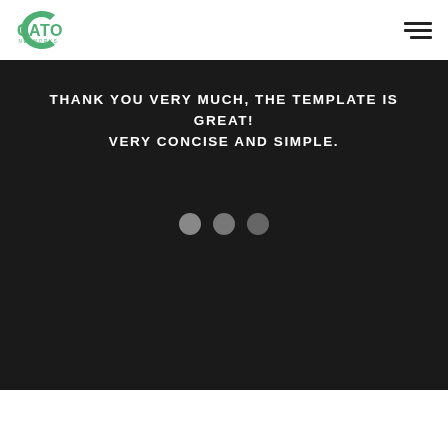[Figure (logo): Cato Networks logo — green stylized C with 'CATO' in large bold green text and 'NETWORKS' in small spaced letters below]
[Figure (other): Hamburger menu icon — three horizontal dark lines]
THANK YOU VERY MUCH, THE TEMPLATE IS GREAT! VERY CONCISE AND SIMPLE.
[Figure (other): Three grey circles used as a carousel indicator or decorative element]